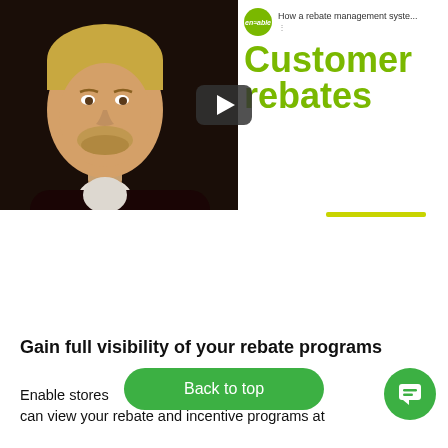[Figure (screenshot): Video thumbnail showing a man on the left side against a dark background, and green text reading 'Customer rebates' on the right side with an enable logo and subtitle 'How a rebate management syste...' at the top, plus a play button overlay in the center.]
Gain full visibility of your rebate programs
Enable stores [  ] lace, so can view your rebate and incentive programs at